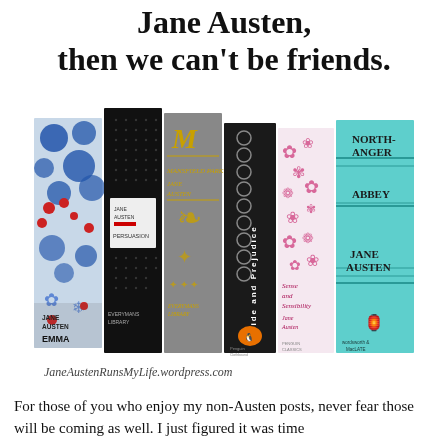Jane Austen, then we can't be friends.
[Figure (illustration): Illustration of several Jane Austen book spines standing upright side by side: Emma (decorative blue/red/white cover), Persuasion (black dotted cover), another Austen volume in gold/grey, Pride and Prejudice (black Penguin cover), Sense and Sensibility (pink floral cover), and Northanger Abbey (teal/mint cover with bold text). Below the books is a URL: JaneAustenRunsMyLife.wordpress.com]
For those of you who enjoy my non-Austen posts, never fear those will be coming as well. I just figured it was time